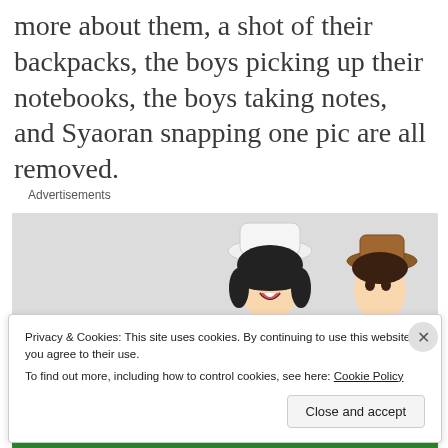more about them, a shot of their backpacks, the boys picking up their notebooks, the boys taking notes, and Syaoran snapping one pic are all removed.
Advertisements
[Figure (illustration): Anime-style illustration showing two characters, one with dark hair wearing a white hat, smiling/laughing, and another character partially visible, set against a light grey background.]
Privacy & Cookies: This site uses cookies. By continuing to use this website, you agree to their use.
To find out more, including how to control cookies, see here: Cookie Policy
Close and accept